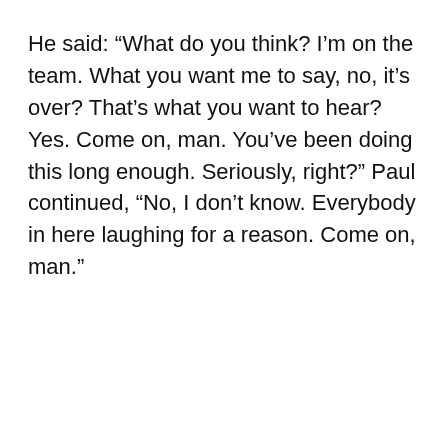He said: “What do you think? I’m on the team. What you want me to say, no, it’s over? That’s what you want to hear? Yes. Come on, man. You’ve been doing this long enough. Seriously, right?” Paul continued, “No, I don’t know. Everybody in here laughing for a reason. Come on, man.”